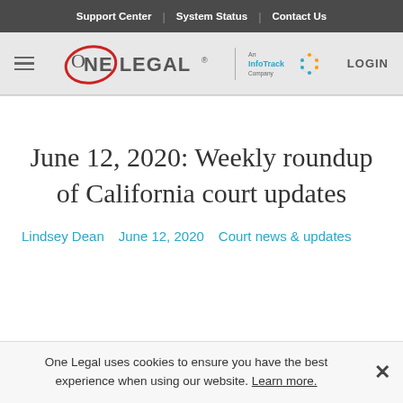Support Center | System Status | Contact Us
[Figure (logo): One Legal - An InfoTrack Company logo with hamburger menu and LOGIN button]
June 12, 2020: Weekly roundup of California court updates
Lindsey Dean   June 12, 2020   Court news & updates
One Legal uses cookies to ensure you have the best experience when using our website. Learn more.